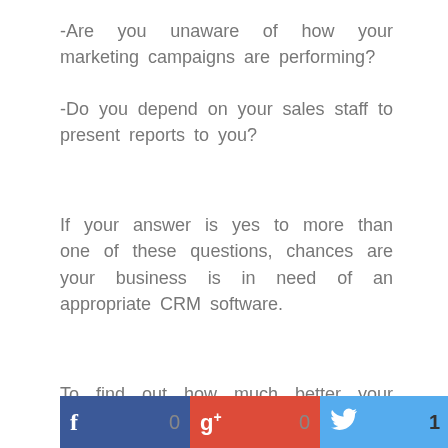-Are you unaware of how your marketing campaigns are performing?
-Do you depend on your sales staff to present reports to you?
If your answer is yes to more than one of these questions, chances are your business is in need of an appropriate CRM software.
To find out how much better your business could be with great CRM, click here.
[Figure (infographic): Social share buttons showing Facebook (f, 0), Google+ (g+, 0), and Twitter (bird icon, 1)]